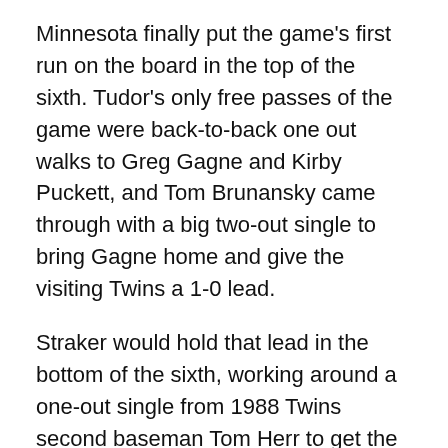Minnesota finally put the game's first run on the board in the top of the sixth. Tudor's only free passes of the game were back-to-back one out walks to Greg Gagne and Kirby Puckett, and Tom Brunansky came through with a big two-out single to bring Gagne home and give the visiting Twins a 1-0 lead.
Straker would hold that lead in the bottom of the sixth, working around a one-out single from 1988 Twins second baseman Tom Herr to get the next thee batters and take the one-run lead into the seventh. Tom Kelly would take his starter out for the bottom of the seventh, believing that the rookie generally suffered after getting through six innings.
The truth was that Straker went beyond six innings in 12 of his 26 starts in '87, and in five of those 12 starts